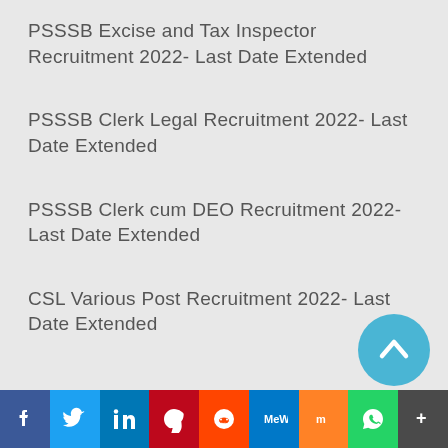PSSSB Excise and Tax Inspector Recruitment 2022- Last Date Extended
PSSSB Clerk Legal Recruitment 2022- Last Date Extended
PSSSB Clerk cum DEO Recruitment 2022- Last Date Extended
CSL Various Post Recruitment 2022- Last Date Extended
[Figure (other): Social media sharing bar with icons: Facebook, Twitter, LinkedIn, Pinterest, Reddit, MeWe, Mix, WhatsApp, More]